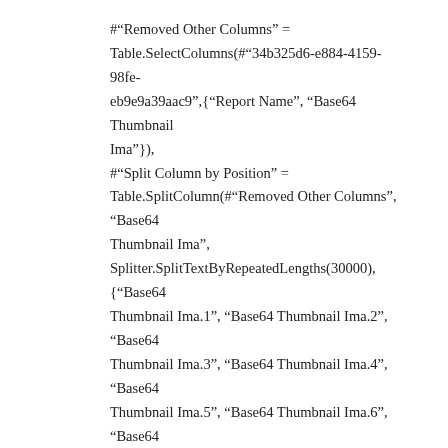#"Removed Other Columns" = Table.SelectColumns(#"34b325d6-e884-4159-98fe-eb9e9a39aac9",{"Report Name", "Base64 Thumbnail Ima"}),
#"Split Column by Position" = Table.SplitColumn(#"Removed Other Columns", "Base64 Thumbnail Ima", Splitter.SplitTextByRepeatedLengths(30000), {"Base64 Thumbnail Ima.1", "Base64 Thumbnail Ima.2", "Base64 Thumbnail Ima.3", "Base64 Thumbnail Ima.4", "Base64 Thumbnail Ima.5", "Base64 Thumbnail Ima.6", "Base64 Thumbnail Ima.7"}),
#"Changed Type" = Table.TransformColumnTypes(#"Split Column by Position",{{"Base64 Thumbnail Ima.1", type text}, {"Base64 Thumbnail Ima.2", type text}, {"Base64 Thumbnail Ima.3", type text}, {"Base64 Thumbnail Ima.4", type text}, {"Base64 Thumbnail Ima.5", type text}, {"Base64 Thumbnail Ima.6", type text}, {"Base64 Thumbnail Ima.7", type text}}),